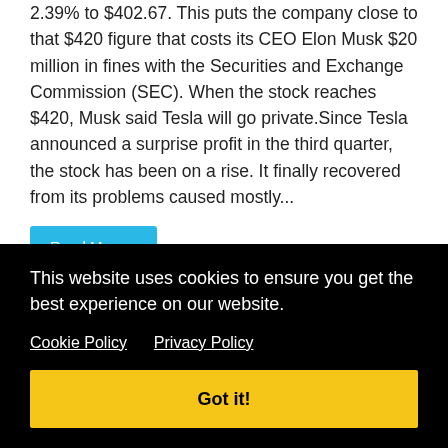2.39% to $402.67. This puts the company close to that $420 figure that costs its CEO Elon Musk $20 million in fines with the Securities and Exchange Commission (SEC). When the stock reaches $420, Musk said Tesla will go private.Since Tesla announced a surprise profit in the third quarter, the stock has been on a rise. It finally recovered from its problems caused mostly...
Read More »
Nissan Introduces a New Crossover EV Is
r EV 2021. miles cified asted any time and already have speculated that the new EV will
This website uses cookies to ensure you get the best experience on our website.
Cookie Policy   Privacy Policy
Got it!